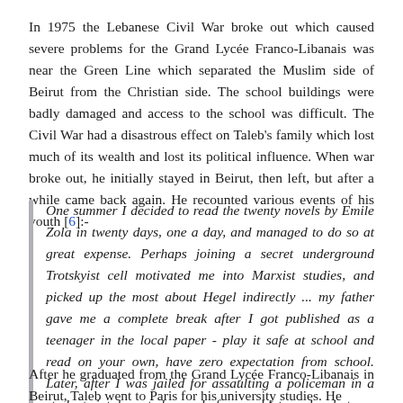In 1975 the Lebanese Civil War broke out which caused severe problems for the Grand Lycée Franco-Libanais was near the Green Line which separated the Muslim side of Beirut from the Christian side. The school buildings were badly damaged and access to the school was difficult. The Civil War had a disastrous effect on Taleb's family which lost much of its wealth and lost its political influence. When war broke out, he initially stayed in Beirut, then left, but after a while came back again. He recounted various events of his youth [6]:-
One summer I decided to read the twenty novels by Emile Zola in twenty days, one a day, and managed to do so at great expense. Perhaps joining a secret underground Trotskyist cell motivated me into Marxist studies, and picked up the most about Hegel indirectly ... my father gave me a complete break after I got published as a teenager in the local paper - play it safe at school and read on your own, have zero expectation from school. Later, after I was jailed for assaulting a policeman in a student riot, he acted scared of me and let me do whatever I wanted.
After he graduated from the Grand Lycée Franco-Libanais in Beirut, Taleb went to Paris for his university studies. He